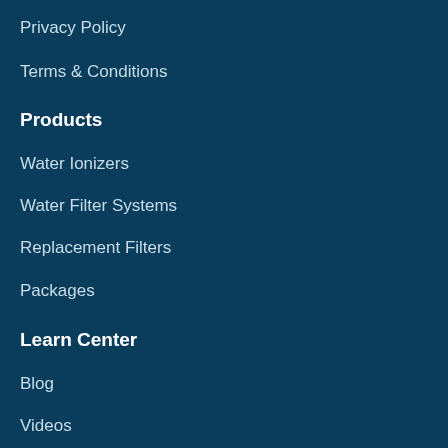Privacy Policy
Terms & Conditions
Products
Water Ionizers
Water Filter Systems
Replacement Filters
Packages
Learn Center
Blog
Videos
Podcast